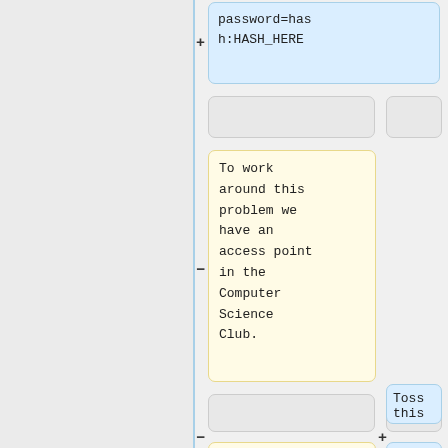+ password=hash:HASH_HERE
To work around this problem we have an access point in the Computer Science Club.
=== Configuration ===
==== netctl ====
Toss this